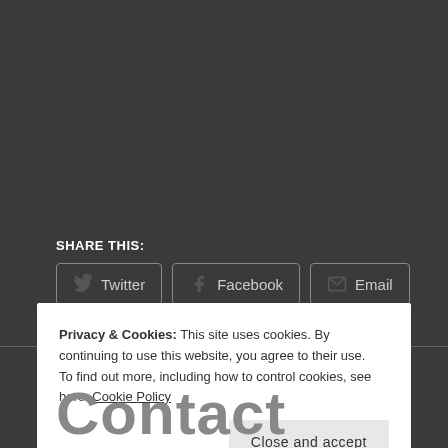SHARE THIS:
Twitter  Facebook  Email
Loading...
Privacy & Cookies: This site uses cookies. By continuing to use this website, you agree to their use.
To find out more, including how to control cookies, see here: Cookie Policy
Close and accept
Contact